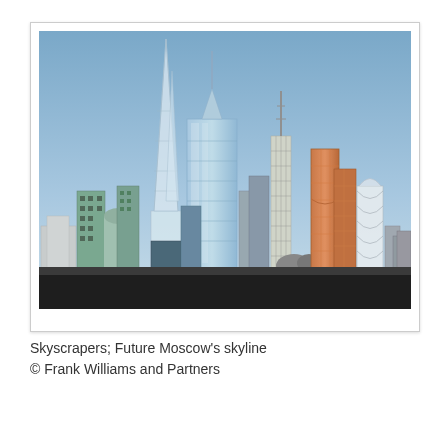[Figure (illustration): Architectural rendering of futuristic skyscrapers representing Future Moscow's skyline, showing multiple tall buildings of varying shapes and styles including glass towers, lattice structures, and copper-toned buildings against a blue sky gradient. The ground level is dark/black.]
Skyscrapers; Future Moscow's skyline
© Frank Williams and Partners